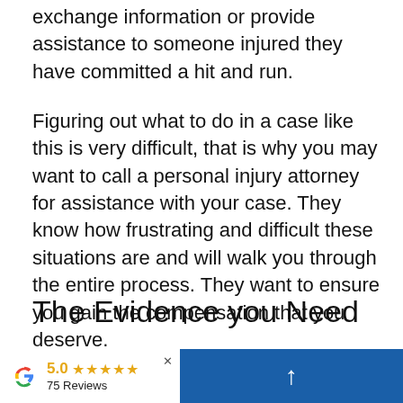exchange information or provide assistance to someone injured they have committed a hit and run.
Figuring out what to do in a case like this is very difficult, that is why you may want to call a personal injury attorney for assistance with your case. They know how frustrating and difficult these situations are and will walk you through the entire process. They want to ensure you gain the compensation that you deserve.
The Evidence you Need
These are all things you can try to
[Figure (other): Google review badge showing 5.0 rating with 5 gold stars and 75 Reviews, alongside a blue panel with a white upward arrow (scroll-to-top button), and a close X button.]